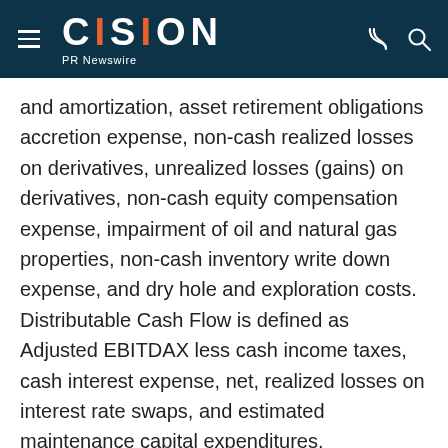CISION PR Newswire
and amortization, asset retirement obligations accretion expense, non-cash realized losses on derivatives, unrealized losses (gains) on derivatives, non-cash equity compensation expense, impairment of oil and natural gas properties, non-cash inventory write down expense, and dry hole and exploration costs. Distributable Cash Flow is defined as Adjusted EBITDAX less cash income taxes, cash interest expense, net, realized losses on interest rate swaps, and estimated maintenance capital expenditures.
Adjusted EBITDAX and Distributable Cash Flow are used by our management to provide additional